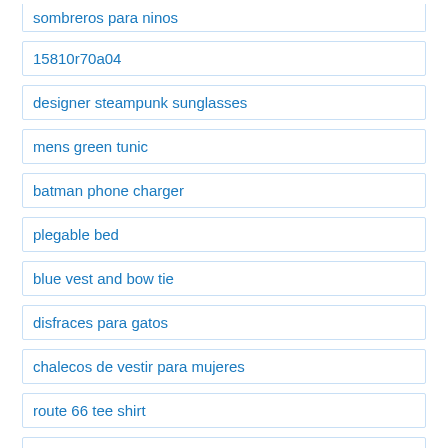sombreros para ninos
15810r70a04
designer steampunk sunglasses
mens green tunic
batman phone charger
plegable bed
blue vest and bow tie
disfraces para gatos
chalecos de vestir para mujeres
route 66 tee shirt
my little pony equestria mini dolls
sans jacket cosplay